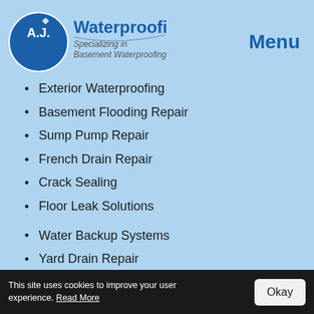[Figure (logo): A.J. Waterproofing logo — circular blue badge with 'A.J.' text, beside 'Waterproofing' in large blue text and 'Specializing in Basement Waterproofing' subtitle]
Menu
Exterior Waterproofing
Basement Flooding Repair
Sump Pump Repair
French Drain Repair
Crack Sealing
Floor Leak Solutions
Water Backup Systems
Yard Drain Repair
Dampness Solutions
Mold Removal
Leak Repairs
This site uses cookies to improve your user experience. Read More
Okay